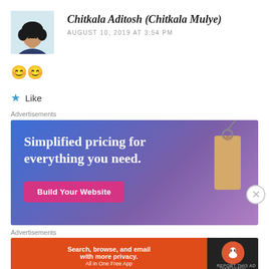[Figure (photo): Profile photo of Chitkala Aditosh, a woman with curly hair wearing a dark top]
Chitkala Aditosh (Chitkala Mulye)
AUGUST 10, 2019 AT 3:54 PM
😊😊
★ Like
Advertisements
[Figure (screenshot): Advertisement banner: Simplified pricing for everything you need. Build Your Website button. Blue-purple gradient background with a price tag image.]
Advertisements
[Figure (screenshot): DuckDuckGo advertisement: Search, browse, and email with more privacy. All in One Free App. Orange background with DuckDuckGo logo on black panel.]